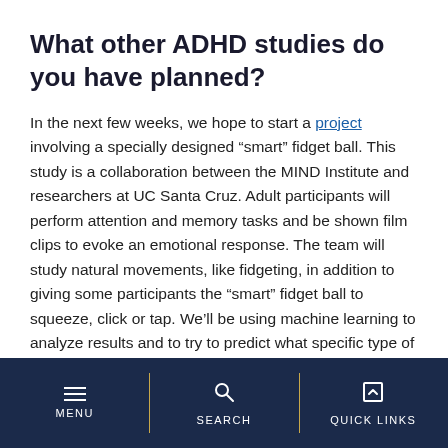What other ADHD studies do you have planned?
In the next few weeks, we hope to start a project involving a specially designed “smart” fidget ball. This study is a collaboration between the MIND Institute and researchers at UC Santa Cruz. Adult participants will perform attention and memory tasks and be shown film clips to evoke an emotional response. The team will study natural movements, like fidgeting, in addition to giving some participants the “smart” fidget ball to squeeze, click or tap. We’ll be using machine learning to analyze results and to try to predict what specific type of fidget ball behaviors are effective and recommend them as possible therapies.
MENU | SEARCH | QUICK LINKS